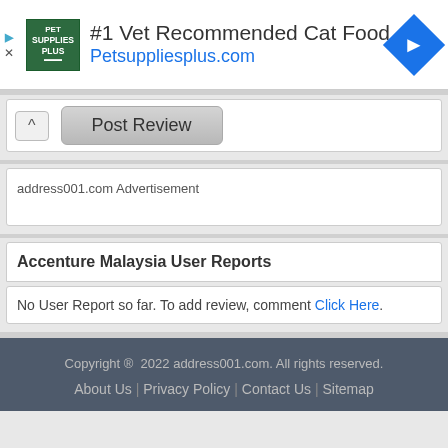[Figure (advertisement): Pet Supplies Plus ad banner with logo, '#1 Vet Recommended Cat Food' headline and Petsuppliesplus.com URL, with a blue diamond navigation icon on the right]
Post Review
address001.com Advertisement
Accenture Malaysia User Reports
No User Report so far. To add review, comment Click Here.
Copyright © 2022 address001.com. All rights reserved.
About Us | Privacy Policy | Contact Us | Sitemap